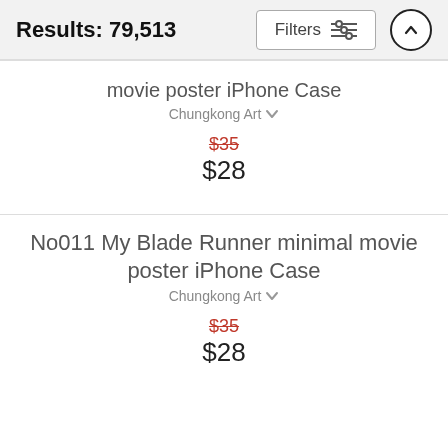Results: 79,513
movie poster iPhone Case
Chungkong Art
$35 $28
No011 My Blade Runner minimal movie poster iPhone Case
Chungkong Art
$35 $28